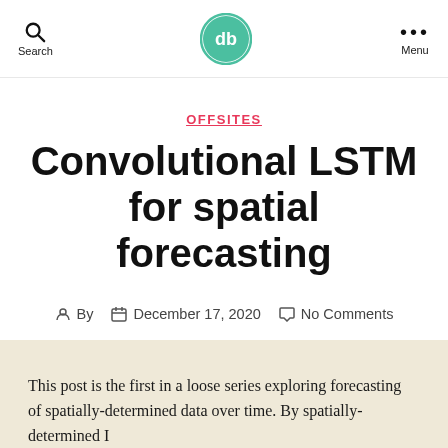Search | [logo] | Menu
OFFSITES
Convolutional LSTM for spatial forecasting
By  December 17, 2020  No Comments
This post is the first in a loose series exploring forecasting of spatially-determined data over time. By spatially-determined I